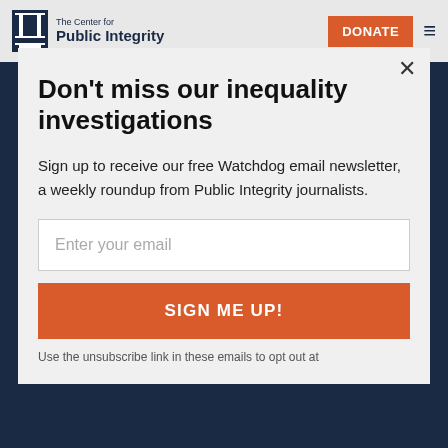The Center for Public Integrity | DONATE
Don't miss our inequality investigations
Sign up to receive our free Watchdog email newsletter, a weekly roundup from Public Integrity journalists.
Enter your email
SIGN ME UP!
Use the unsubscribe link in these emails to opt out at